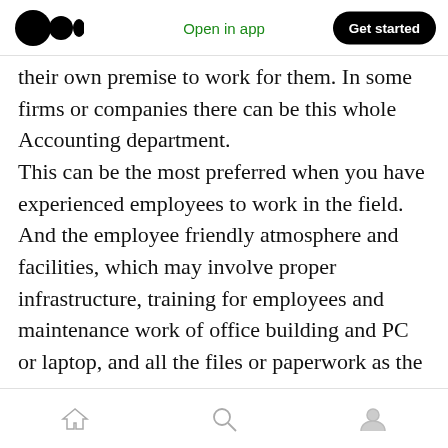Open in app | Get started
their own premise to work for them. In some firms or companies there can be this whole Accounting department.
This can be the most preferred when you have experienced employees to work in the field. And the employee friendly atmosphere and facilities, which may involve proper infrastructure, training for employees and maintenance work of office building and PC or laptop, and all the files or paperwork as the case may be. You can hire people and get done with the accounting work. But thinking about startups who try to minimize their costs, can have even higher costs with this
home | search | profile